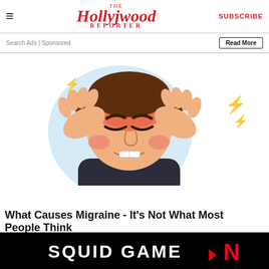The Hollywood Reporter | SUBSCRIBE
Search Ads | Sponsored
Read More
[Figure (illustration): Cartoon illustration of a person in pain holding their head with both hands, red glow on forehead indicating headache, lightning bolt symbols around head, light blue background circle behind figure]
What Causes Migraine - It's Not What Most People Think
[Figure (other): Squid Game Netflix advertisement banner, black background with Squid Game logo in white text and Netflix N logo in red]